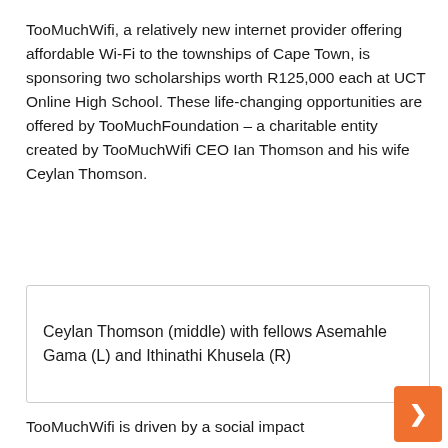TooMuchWifi, a relatively new internet provider offering affordable Wi-Fi to the townships of Cape Town, is sponsoring two scholarships worth R125,000 each at UCT Online High School. These life-changing opportunities are offered by TooMuchFoundation – a charitable entity created by TooMuchWifi CEO Ian Thomson and his wife Ceylan Thomson.
[Figure (photo): Image box with caption: Ceylan Thomson (middle) with fellows Asemahle Gama (L) and Ithinathi Khusela (R)]
Ceylan Thomson (middle) with fellows Asemahle Gama (L) and Ithinathi Khusela (R)
TooMuchWifi is driven by a social impact